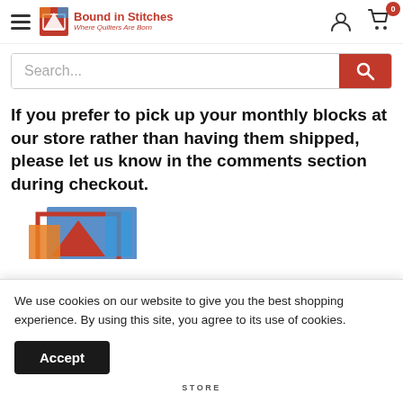Bound in Stitches — Where Quilters Are Born
Search...
If you prefer to pick up your monthly blocks at our store rather than having them shipped, please let us know in the comments section during checkout.
[Figure (illustration): Partial view of a quilt store product image with colorful fabric blocks and a red triangular logo element]
We use cookies on our website to give you the best shopping experience. By using this site, you agree to its use of cookies.
Accept
STORE